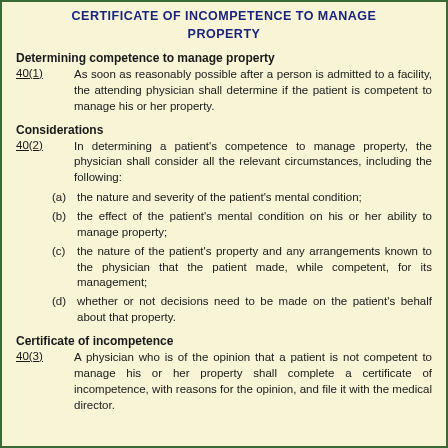CERTIFICATE OF INCOMPETENCE TO MANAGE PROPERTY
Determining competence to manage property
40(1)      As soon as reasonably possible after a person is admitted to a facility, the attending physician shall determine if the patient is competent to manage his or her property.
Considerations
40(2)      In determining a patient's competence to manage property, the physician shall consider all the relevant circumstances, including the following:
(a) the nature and severity of the patient's mental condition;
(b) the effect of the patient's mental condition on his or her ability to manage property;
(c) the nature of the patient's property and any arrangements known to the physician that the patient made, while competent, for its management;
(d) whether or not decisions need to be made on the patient's behalf about that property.
Certificate of incompetence
40(3)      A physician who is of the opinion that a patient is not competent to manage his or her property shall complete a certificate of incompetence, with reasons for the opinion, and file it with the medical director.